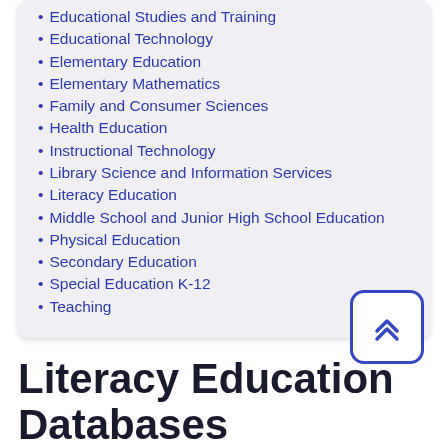Educational Studies and Training
Educational Technology
Elementary Education
Elementary Mathematics
Family and Consumer Sciences
Health Education
Instructional Technology
Library Science and Information Services
Literacy Education
Middle School and Junior High School Education
Physical Education
Secondary Education
Special Education K-12
Teaching
Literacy Education Databases